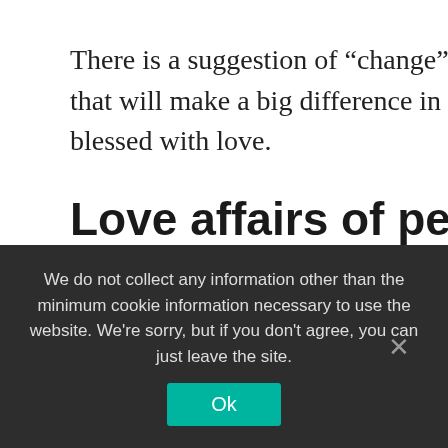There is a suggestion of “change” in the late 60s. There will be encounters that will make a big difference in your life. It’s going to be a calm late life blessed with love.
Love affairs of people born on February 12
People born on February 12 seem to have a romantic longing for romance. There are places where you fall in love, and you may be worried about the gap between reality
We do not collect any information other than the minimum cookie information necessary to use the website. We're sorry, but if you don't agree, you can just leave the site.